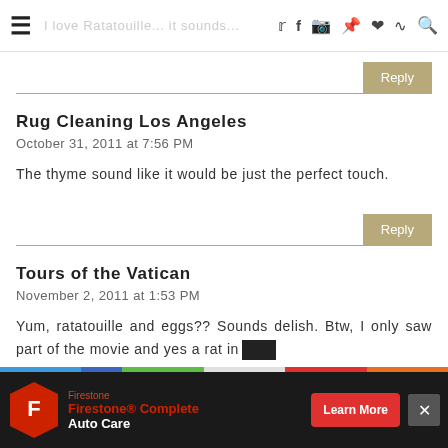I love Ratatouille  ☰ [nav icons]
Reply
Rug Cleaning Los Angeles
October 31, 2011 at 7:56 PM
The thyme sound like it would be just the perfect touch.
Reply
Tours of the Vatican
November 2, 2011 at 1:53 PM
Yum, ratatouille and eggs?? Sounds delish. Btw, I only saw part of the movie and yes a rat in
[Figure (screenshot): Firestone Complete Auto Care advertisement banner with logo, brand text, and Learn More button]